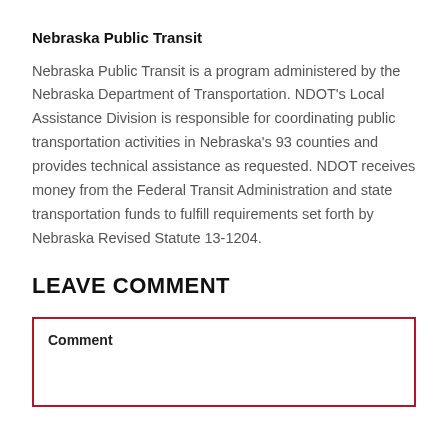Nebraska Public Transit
Nebraska Public Transit is a program administered by the Nebraska Department of Transportation. NDOT's Local Assistance Division is responsible for coordinating public transportation activities in Nebraska's 93 counties and provides technical assistance as requested. NDOT receives money from the Federal Transit Administration and state transportation funds to fulfill requirements set forth by Nebraska Revised Statute 13-1204.
LEAVE COMMENT
Comment